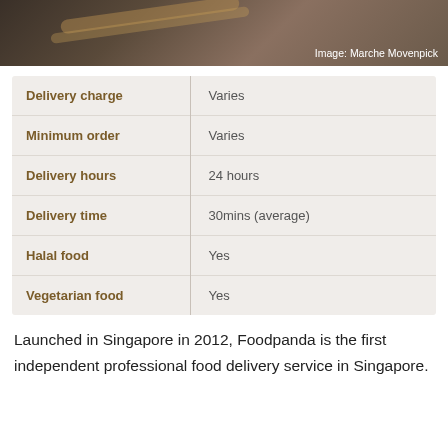[Figure (photo): Dark wooden surface with chopstick/utensil, with caption 'Image: Marche Movenpick']
| Delivery charge | Varies |
| Minimum order | Varies |
| Delivery hours | 24 hours |
| Delivery time | 30mins (average) |
| Halal food | Yes |
| Vegetarian food | Yes |
Launched in Singapore in 2012, Foodpanda is the first independent professional food delivery service in Singapore.